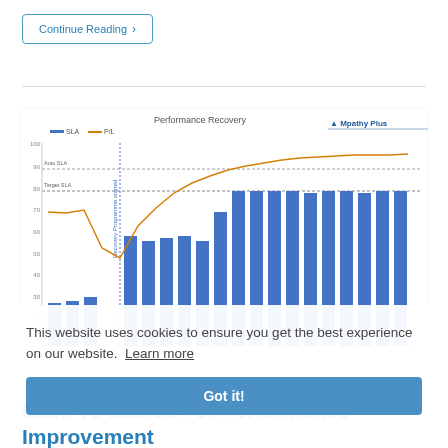Continue Reading >
[Figure (bar-chart): Bar chart showing performance recovery over time with a line overlay. Blue bars show SLA metric values increasing from low values to near 80. Orange line tracks a separate metric. Horizontal dashed lines indicate 'Auto SLA' and 'Target SLA' levels. Logo: Mpathy Plus. A vertical annotation reads 'Recovery Programme started'.]
This website uses cookies to ensure you get the best experience on our website. Learn more
Got it!
Back To Basics For Performance Improvement